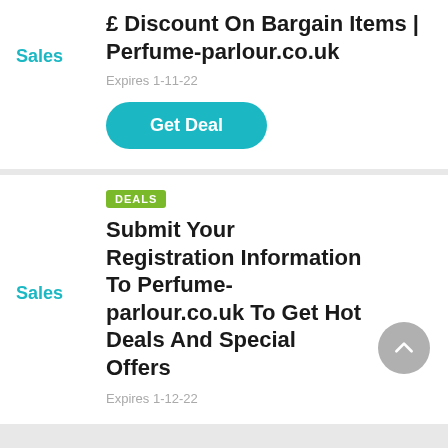Sales
Enjoy An Average £17.13 £ Discount On Bargain Items | Perfume-parlour.co.uk
Expires 1-11-22
Get Deal
DEALS
Sales
Submit Your Registration Information To Perfume-parlour.co.uk To Get Hot Deals And Special Offers
Expires 1-12-22